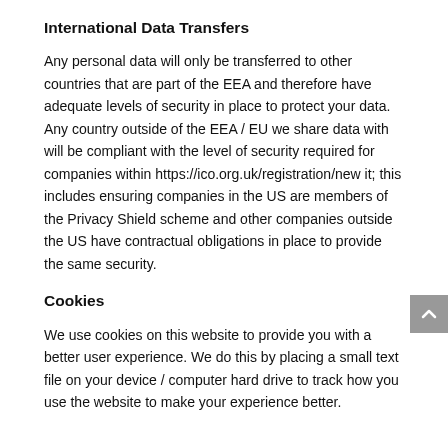International Data Transfers
Any personal data will only be transferred to other countries that are part of the EEA and therefore have adequate levels of security in place to protect your data. Any country outside of the EEA / EU we share data with will be compliant with the level of security required for companies within https://ico.org.uk/registration/new it; this includes ensuring companies in the US are members of the Privacy Shield scheme and other companies outside the US have contractual obligations in place to provide the same security.
Cookies
We use cookies on this website to provide you with a better user experience. We do this by placing a small text file on your device / computer hard drive to track how you use the website to make your experience better.